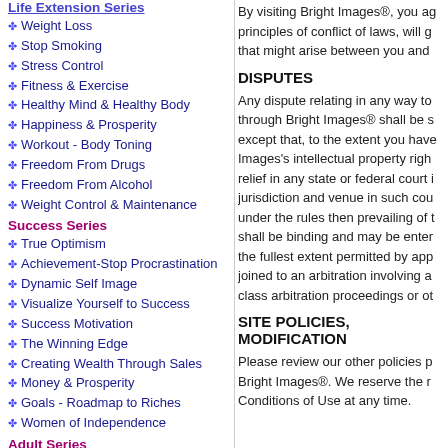Life Extension Series
Weight Loss
Stop Smoking
Stress Control
Fitness & Exercise
Healthy Mind & Healthy Body
Happiness & Prosperity
Workout - Body Toning
Freedom From Drugs
Freedom From Alcohol
Weight Control & Maintenance
Success Series
True Optimism
Achievement-Stop Procrastination
Dynamic Self Image
Visualize Yourself to Success
Success Motivation
The Winning Edge
Creating Wealth Through Sales
Money & Prosperity
Goals - Roadmap to Riches
Women of Independence
Adult Series
Sexual Enhancement
Family Harmony
Total Relaxation
Showing & Attracting Love
By visiting Bright Images®, you ag principles of conflict of laws, will g that might arise between you and
DISPUTES
Any dispute relating in any way to through Bright Images® shall be s except that, to the extent you have Images's intellectual property righ relief in any state or federal court i jurisdiction and venue in such cou under the rules then prevailing of t shall be binding and may be enter the fullest extent permitted by app joined to an arbitration involving a class arbitration proceedings or ot
SITE POLICIES, MODIFICATION
Please review our other policies p Bright Images®. We reserve the r Conditions of Use at any time.